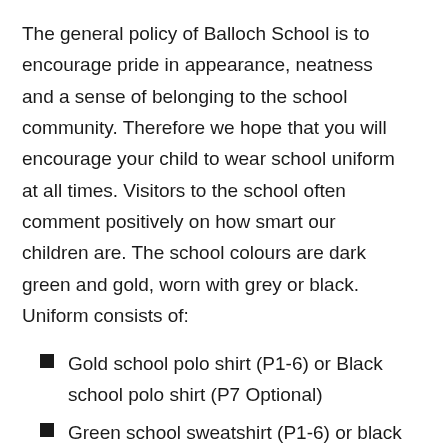The general policy of Balloch School is to encourage pride in appearance, neatness and a sense of belonging to the school community. Therefore we hope that you will encourage your child to wear school uniform at all times. Visitors to the school often comment positively on how smart our children are. The school colours are dark green and gold, worn with grey or black. Uniform consists of:
Gold school polo shirt (P1-6) or Black school polo shirt (P7 Optional)
Green school sweatshirt (P1-6) or black for P7